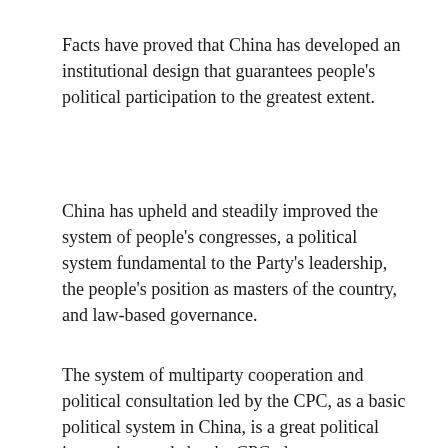Facts have proved that China has developed an institutional design that guarantees people's political participation to the greatest extent.
China has upheld and steadily improved the system of people's congresses, a political system fundamental to the Party's leadership, the people's position as masters of the country, and law-based governance.
The system of multiparty cooperation and political consultation led by the CPC, as a basic political system in China, is a great political innovation made by the CPC, the